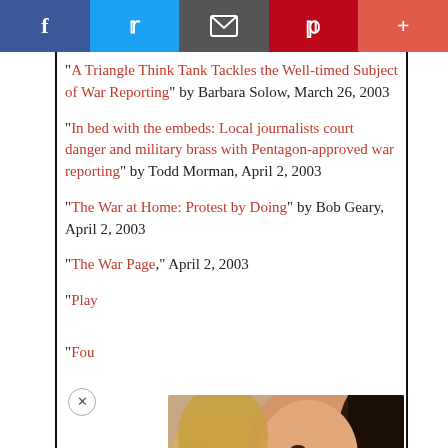[Figure (other): Social sharing bar with Facebook, Twitter, Email, Pinterest, and Plus buttons]
"A Triangle Think Tank Tackles the Well-timed Subject of War Reporting" by Barbara Solow, March 26, 2003
"In bed with the embeds: Local journalists court danger and military brass with Pentagon-approved war reporting" by Todd Morman, April 2, 2003
"The War at Home: Protest by Doing" by Bob Geary, April 2, 2003
"The War Page," April 2, 2003
"Play..." 2003
"Fou...
[Figure (photo): Photo of a child smiling while someone writes or draws on their face/cheek with a red marker]